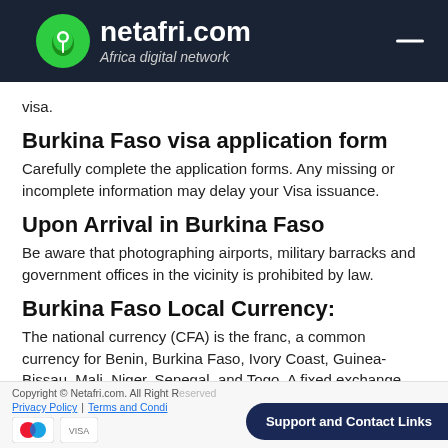netafri.com — Africa digital network
visa.
Burkina Faso visa application form
Carefully complete the application forms. Any missing or incomplete information may delay your Visa issuance.
Upon Arrival in Burkina Faso
Be aware that photographing airports, military barracks and government offices in the vicinity is prohibited by law.
Burkina Faso Local Currency:
The national currency (CFA) is the franc, a common currency for Benin, Burkina Faso, Ivory Coast, Guinea-Bissau, Mali, Niger, Senegal, and Togo. A fixed exchange
Copyright © Netafri.com. All Right Reserved | Privacy Policy | Terms and Conditions | Support and Contact Links